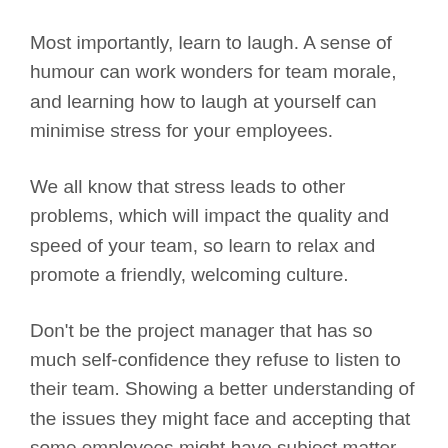Most importantly, learn to laugh. A sense of humour can work wonders for team morale, and learning how to laugh at yourself can minimise stress for your employees.
We all know that stress leads to other problems, which will impact the quality and speed of your team, so learn to relax and promote a friendly, welcoming culture.
Don't be the project manager that has so much self-confidence they refuse to listen to their team. Showing a better understanding of the issues they might face and accepting that some employees might have subject matter expertise enhances your team's productivity and leads to project completion.